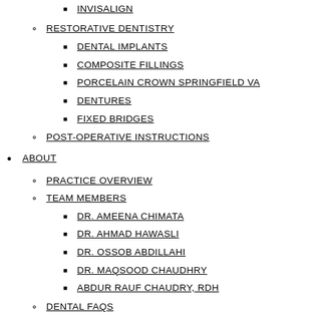INVISALIGN
RESTORATIVE DENTISTRY
DENTAL IMPLANTS
COMPOSITE FILLINGS
PORCELAIN CROWN SPRINGFIELD VA
DENTURES
FIXED BRIDGES
POST-OPERATIVE INSTRUCTIONS
ABOUT
PRACTICE OVERVIEW
TEAM MEMBERS
DR. AMEENA CHIMATA
DR. AHMAD HAWASLI
DR. OSSOB ABDILLAHI
DR. MAQSOOD CHAUDHRY
ABDUR RAUF CHAUDRY, RDH
DENTAL FAQS
GALLERY